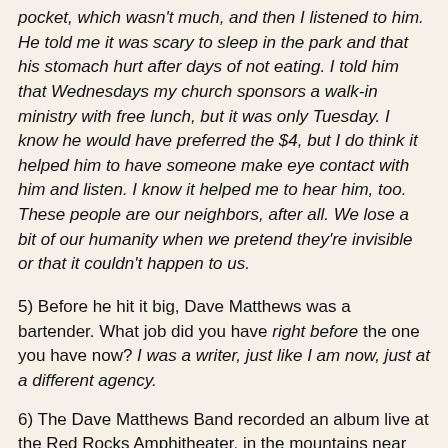pocket, which wasn't much, and then I listened to him. He told me it was scary to sleep in the park and that his stomach hurt after days of not eating. I told him that Wednesdays my church sponsors a walk-in ministry with free lunch, but it was only Tuesday. I know he would have preferred the $4, but I do think it helped him to have someone make eye contact with him and listen. I know it helped me to hear him, too. These people are our neighbors, after all. We lose a bit of our humanity when we pretend they're invisible or that it couldn't happen to us.
5) Before he hit it big, Dave Matthews was a bartender. What job did you have right before the one you have now? I was a writer, just like I am now, just at a different agency.
6) The Dave Matthews Band recorded an album live at the Red Rocks Amphitheater, in the mountains near Denver. Is there a trip to the mountains in your